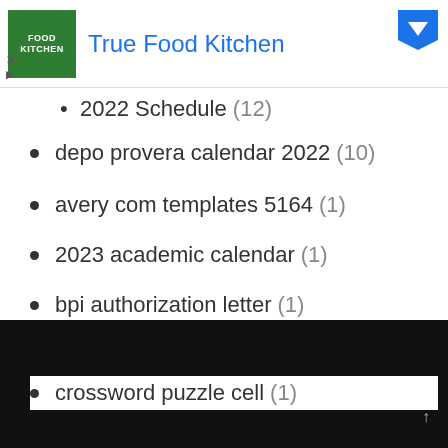[Figure (other): True Food Kitchen advertisement banner with green logo and blue title text]
2022 Schedule (12)
depo provera calendar 2022 (10)
avery com templates 5164 (1)
2023 academic calendar (1)
bpi authorization letter (1)
Картинки на шкафы цифры (1)
crossword puzzle cell (1)
Provide The latest Printable To Prints